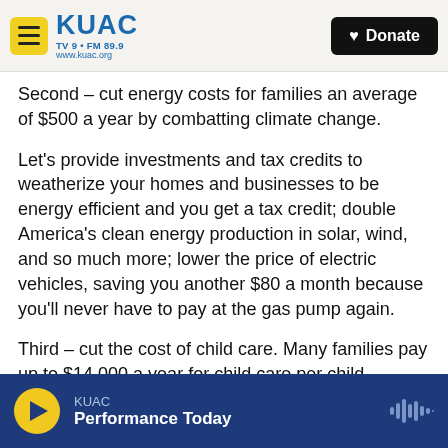KUAC TV 9 · FM 89.9 www.kuac.org | Donate
Second – cut energy costs for families an average of $500 a year by combatting climate change.
Let's provide investments and tax credits to weatherize your homes and businesses to be energy efficient and you get a tax credit; double America's clean energy production in solar, wind, and so much more; lower the price of electric vehicles, saving you another $80 a month because you'll never have to pay at the gas pump again.
Third – cut the cost of child care. Many families pay up to $14,000 a year for child care per child.
KUAC – Performance Today